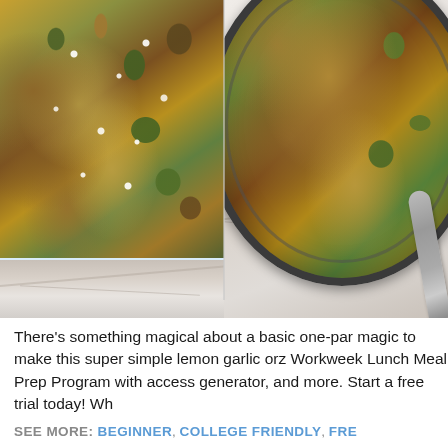[Figure (photo): Two food photos side by side on a marble surface: left shows a glass baking dish with lemon garlic orzo with sausage and broccoli topped with white cheese crumbles; right shows the same dish in a dark skillet/pan.]
There's something magical about a basic one-pan magic to make this super simple lemon garlic orz Workweek Lunch Meal Prep Program with access generator, and more. Start a free trial today! Wh
SEE MORE: BEGINNER, COLLEGE FRIENDLY, FRE